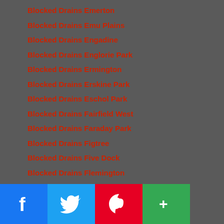Blocked Drains Emerton
Blocked Drains Emu Plains
Blocked Drains Engadine
Blocked Drains Englorie Park
Blocked Drains Ermington
Blocked Drains Erskine Park
Blocked Drains Eschol Park
Blocked Drains Fairfield West
Blocked Drains Faraday Park
Blocked Drains Figtree
Blocked Drains Five Dock
Blocked Drains Flemington
Blocked Drains French's Forest
Blocked Drains Fullers Bridge
Blocked Drains Georges Hall
Blocked Drains Georges Head
Blocked Drains Glades Bay
Blocked Drains Gladesville
Blocked Drains Glenhaven